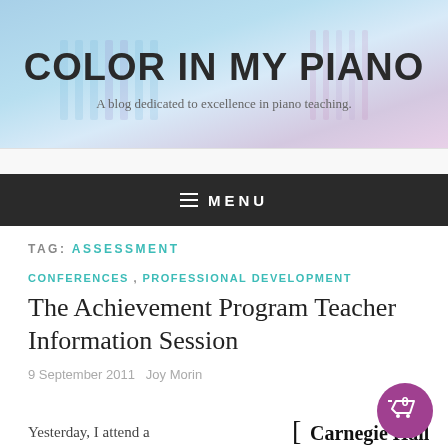[Figure (illustration): Color In My Piano blog header banner with colorful gradient background showing piano keys silhouettes in blues and purples]
COLOR IN MY PIANO
A blog dedicated to excellence in piano teaching.
≡ MENU
TAG: ASSESSMENT
CONFERENCES , PROFESSIONAL DEVELOPMENT
The Achievement Program Teacher Information Session
9 September 2011   Joy Morin
Yesterday, I attend a
[Figure (logo): Carnegie Hall logo with bracket and text]